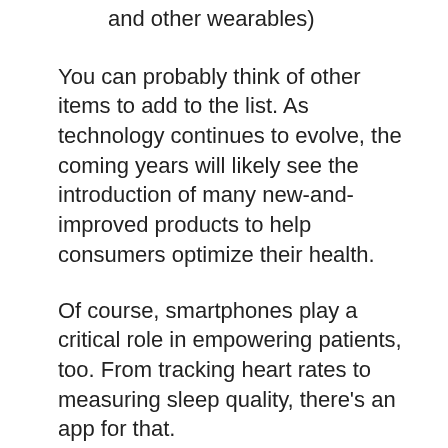and other wearables)
You can probably think of other items to add to the list. As technology continues to evolve, the coming years will likely see the introduction of many new-and-improved products to help consumers optimize their health.
Of course, smartphones play a critical role in empowering patients, too. From tracking heart rates to measuring sleep quality, there's an app for that.
By making it easier for patients to keep tabs on their health, these devices can reduce the likelihood of hospitalizations and the frequency of doctor visits, minimizing cost…